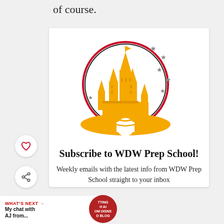of course.
[Figure (illustration): WDW Prep School logo — golden Cinderella castle silhouette inside a red and dark circle, with grey stars scattered around the upper right, on white background.]
Subscribe to WDW Prep School!
Weekly emails with the latest info from WDW Prep School straight to your inbox